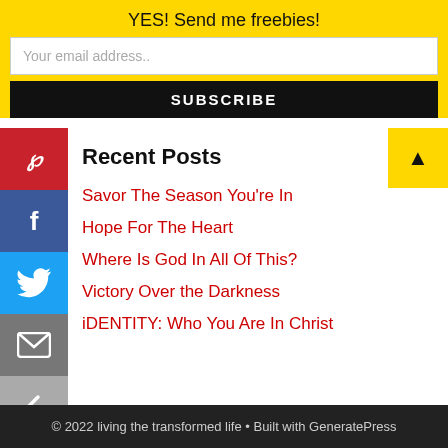YES! Send me freebies!
Your email address..
SUBSCRIBE
Recent Posts
Savor The Season You're In
Hope For The Heart
Where Is God In All Of This?
Victory Over the Darkness
iDENTITY: Who You Are In Christ
© 2022 living the transformed life • Built with GeneratePress